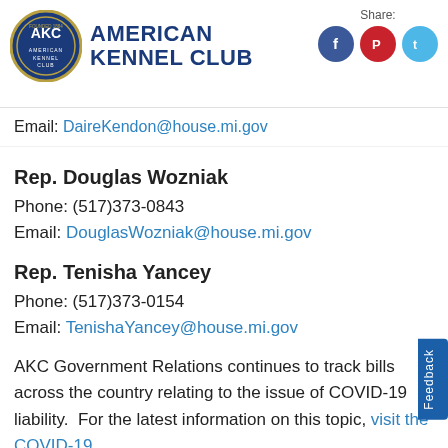[Figure (logo): American Kennel Club logo with circular blue badge and AKC text]
Email: DaireKendon@house.mi.gov
Rep. Douglas Wozniak
Phone: (517)373-0843
Email: DouglasWozniak@house.mi.gov
Rep. Tenisha Yancey
Phone: (517)373-0154
Email: TenishaYancey@house.mi.gov
AKC Government Relations continues to track bills across the country relating to the issue of COVID-19 liability. For the latest information on this topic, visit the COVID-19